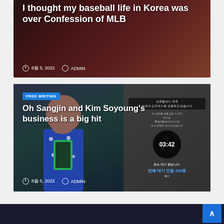[Figure (photo): Article card with dark reddish background showing a person's face, with bold white title text overlay about baseball]
I thought my baseball life in Korea was over Confession of MLB
8월 5, 2022  ADMIN
[Figure (photo): Article card showing a woman taking a selfie with green phone case on left, and Korean phone waiting screen with 03:42 timer on right]
Oh Sangjin and Kim Soyoung's business is a big hit
8월 5, 2022  ADMIN